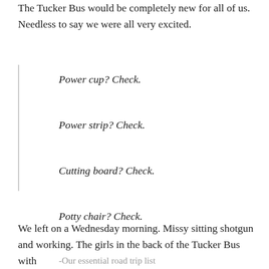The Tucker Bus would be completely new for all of us. Needless to say we were all very excited.
Power cup? Check.
Power strip? Check.
Cutting board? Check.
Potty chair? Check.
-Our essential road trip list
We left on a Wednesday morning. Missy sitting shotgun and working. The girls in the back of the Tucker Bus with